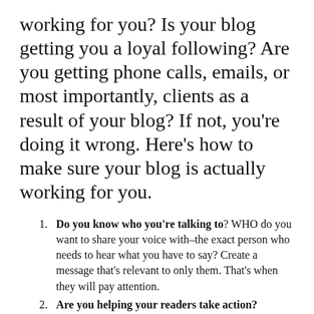working for you? Is your blog getting you a loyal following? Are you getting phone calls, emails, or most importantly, clients as a result of your blog? If not, you're doing it wrong. Here's how to make sure your blog is actually working for you.
Do you know who you're talking to? WHO do you want to share your voice with–the exact person who needs to hear what you have to say? Create a message that's relevant to only them. That's when they will pay attention.
Are you helping your readers take action? Organize your piece so it is easier for your readers to take those actions.  If you want them to sign up for your newsletter, make it easy for them to do that with a